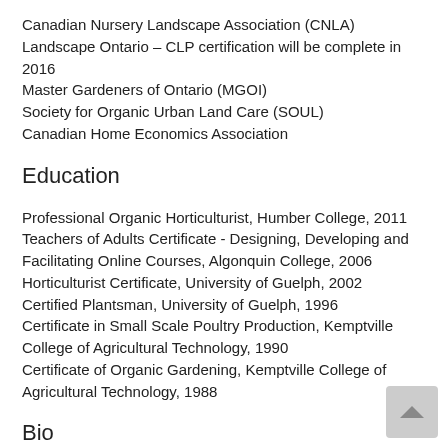Canadian Nursery Landscape Association (CNLA)
Landscape Ontario – CLP certification will be complete in 2016
Master Gardeners of Ontario (MGOI)
Society for Organic Urban Land Care (SOUL)
Canadian Home Economics Association
Education
Professional Organic Horticulturist, Humber College, 2011
Teachers of Adults Certificate - Designing, Developing and Facilitating Online Courses, Algonquin College, 2006
Horticulturist Certificate, University of Guelph, 2002
Certified Plantsman, University of Guelph, 1996
Certificate in Small Scale Poultry Production, Kemptville College of Agricultural Technology, 1990
Certificate of Organic Gardening, Kemptville College of Agricultural Technology, 1988
Bio
Astrid Muschalla works as a Certified Organic Land Care